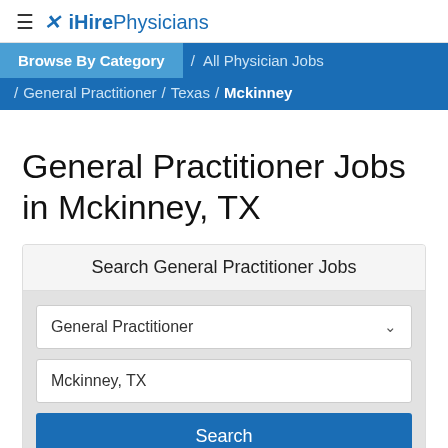≡ ✕ iHirePhysicians
Browse By Category / All Physician Jobs / General Practitioner / Texas / Mckinney
General Practitioner Jobs in Mckinney, TX
Search General Practitioner Jobs
General Practitioner
Mckinney, TX
Search